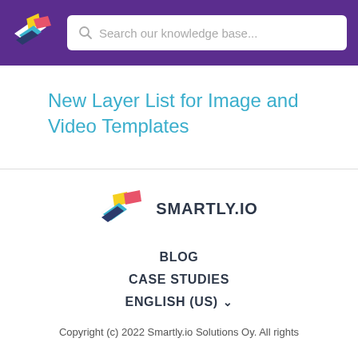Search our knowledge base...
New Layer List for Image and Video Templates
[Figure (logo): Smartly.io logo with colorful geometric mark and SMARTLY.IO text]
BLOG
CASE STUDIES
ENGLISH (US) ▾
Copyright (c) 2022 Smartly.io Solutions Oy. All rights